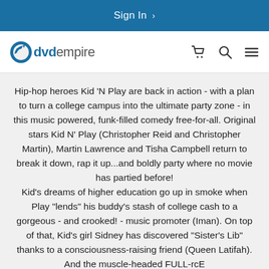Sign In >
[Figure (logo): DVD Empire logo with blue disc icon and 'dvdempire' text, alongside cart, search, and menu icons]
Hip-hop heroes Kid 'N Play are back in action - with a plan to turn a college campus into the ultimate party zone - in this music powered, funk-filled comedy free-for-all. Original stars Kid N' Play (Christopher Reid and Christopher Martin), Martin Lawrence and Tisha Campbell return to break it down, rap it up...and boldly party where no movie has partied before!
Kid's dreams of higher education go up in smoke when Play "lends" his buddy's stash of college cash to a gorgeous - and crooked! - music promoter (Iman). On top of that, Kid's girl Sidney has discovered "Sister's Lib" thanks to a consciousness-raising friend (Queen Latifah). And the muscle-headed FULL-rcE